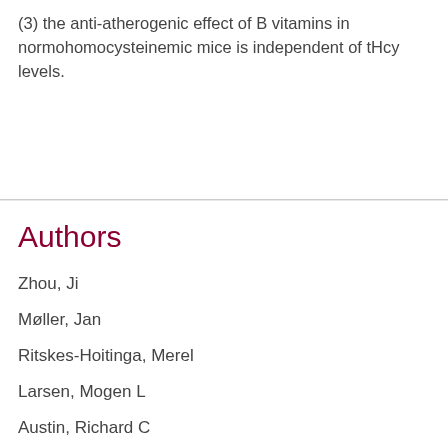(3) the anti-atherogenic effect of B vitamins in normohomocysteinemic mice is independent of tHcy levels.
Authors
Zhou, Ji
Møller, Jan
Ritskes-Hoitinga, Merel
Larsen, Mogen L
Austin, Richard C
MORE